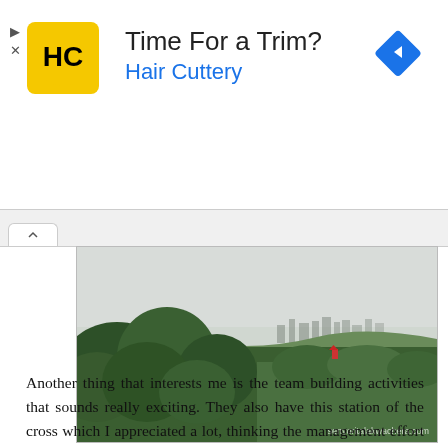[Figure (advertisement): Hair Cuttery advertisement banner with HC yellow logo, title 'Time For a Trim?', subtitle 'Hair Cuttery', and blue diamond arrow icon on the right. Ad controls (play and close) on the left side.]
[Figure (photo): Landscape photo showing lush green trees and hills in the foreground with a city skyline visible in the hazy background. Watermark reads 'senyoritalakwachera.com'.]
Another thing that interests me is the team building activities that sounds really exciting. They also have this station of the cross which I appreciated a lot, thinking the management effort to make the resort not only a